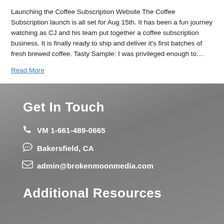Launching the Coffee Subscription Website The Coffee Subscription launch is all set for Aug 15th. It has been a fun journey watching as CJ and his team put together a coffee subscription business. It is finally ready to ship and deliver it's first batches of fresh brewed coffee. Tasty Sample: I was privileged enough to…
Read More
Get In Touch
VM 1-661-489-0665
Bakersfield, CA
admin@brokenmoonmedia.com
Additional Resources